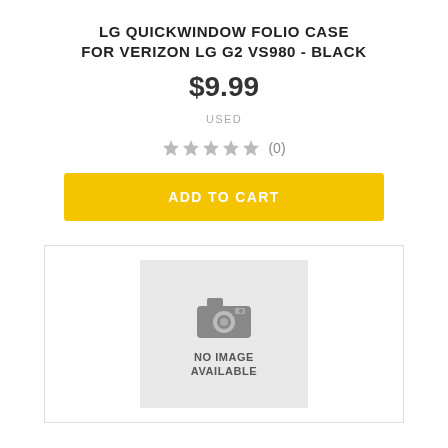LG QUICKWINDOW FOLIO CASE FOR VERIZON LG G2 VS980 - BLACK
$9.99
USED
(0)
ADD TO CART
[Figure (illustration): No image available placeholder with camera icon and text NO IMAGE AVAILABLE on grey background inside a white bordered box]